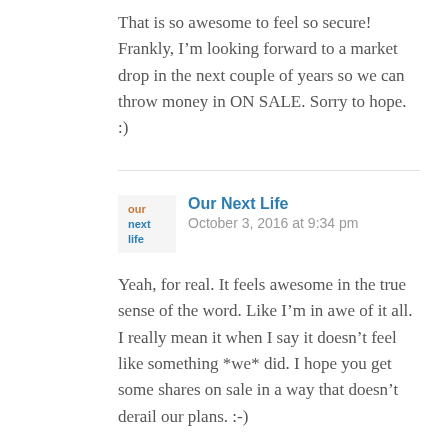That is so awesome to feel so secure! Frankly, I’m looking forward to a market drop in the next couple of years so we can throw money in ON SALE. Sorry to hope. :)
Our Next Life
October 3, 2016 at 9:34 pm
Yeah, for real. It feels awesome in the true sense of the word. Like I’m in awe of it all. I really mean it when I say it doesn’t feel like something *we* did. I hope you get some shares on sale in a way that doesn’t derail our plans. :-)